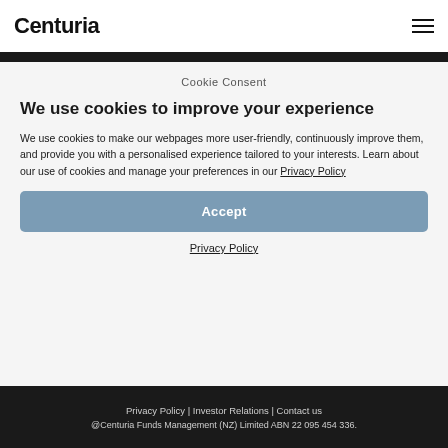Centuria
Cookie Consent
We use cookies to improve your experience
We use cookies to make our webpages more user-friendly, continuously improve them, and provide you with a personalised experience tailored to your interests. Learn about our use of cookies and manage your preferences in our Privacy Policy
Accept
Privacy Policy
Privacy Policy | Investor Relations | Contact us @Centuria Funds Management (NZ) Limited ABN 22 095 454 336.